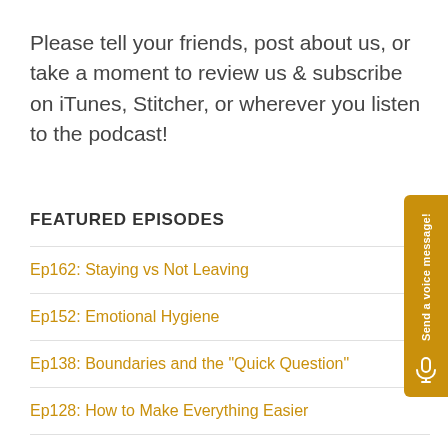Please tell your friends, post about us, or take a moment to review us & subscribe on iTunes, Stitcher, or wherever you listen to the podcast!
FEATURED EPISODES
Ep162: Staying vs Not Leaving
Ep152: Emotional Hygiene
Ep138: Boundaries and the "Quick Question"
Ep128: How to Make Everything Easier
Ep104: Unhealthy Competition